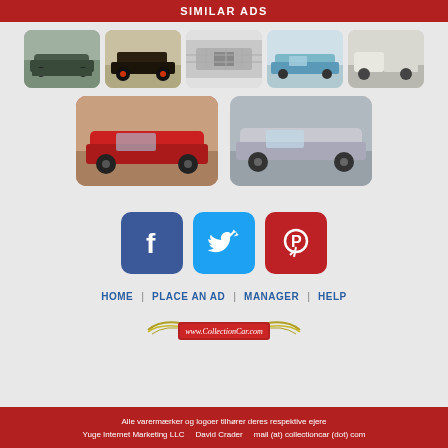SIMILAR ADS
[Figure (photo): Row of 5 classic car thumbnail images: green muscle car, vintage Model T style car, Mustang front grille, light blue classic sedan, white vintage pickup truck]
[Figure (photo): Row of 2 classic car thumbnail images: red classic car, silver/grey classic station wagon]
[Figure (infographic): Three social media icon buttons: Facebook (blue), Twitter (light blue), Pinterest (red)]
HOME | PLACE AN AD | MANAGER | HELP
[Figure (logo): CollectionCar.com logo with wings and red banner reading www.CollectionCar.com]
Alle varermaerker og logoer tilhorer deres respektive ejere Yuge Internet Marketing LLC   David Crader   mail (at) collectioncar (dot) com